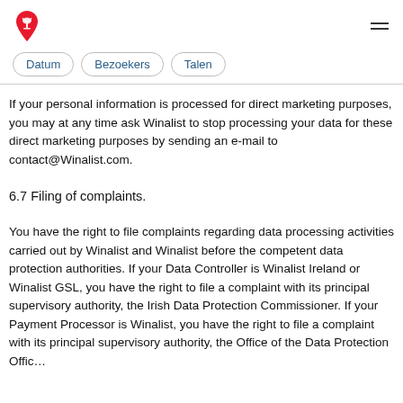Winalist logo and navigation menu
Datum | Bezoekers | Talen
If your personal information is processed for direct marketing purposes, you may at any time ask Winalist to stop processing your data for these direct marketing purposes by sending an e-mail to contact@Winalist.com.
6.7 Filing of complaints.
You have the right to file complaints regarding data processing activities carried out by Winalist and Winalist before the competent data protection authorities. If your Data Controller is Winalist Ireland or Winalist GSL, you have the right to file a complaint with its principal supervisory authority, the Irish Data Protection Commissioner. If your Payment Processor is Winalist, you have the right to file a complaint with its principal supervisory authority, the Office of the Data Protection Officer.